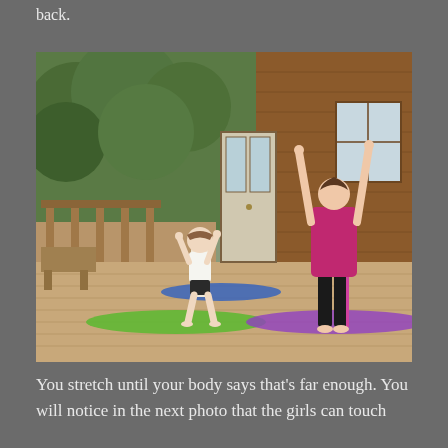back.
[Figure (photo): Two females doing yoga on a wooden deck outside a log cabin. A young girl stands on a green yoga mat with arms raised, and a woman in a pink top stands on a purple yoga mat with arms fully raised overhead. A blue yoga mat is visible between them. Trees and a door are visible in the background.]
You stretch until your body says that's far enough. You will notice in the next photo that the girls can touch